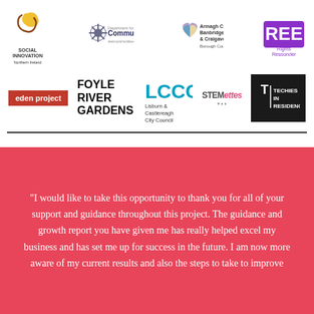[Figure (logo): Row of partner/sponsor logos including Social Innovation Northern Ireland, Department for Communities, Armagh City Banbridge & Craigavon Borough Council, REE Rights Responder, eden project, Foyle River Gardens, LCCC Lisburn & Castlereagh City Council, STEMettes, Techies in Residence]
“I would like to take this opportunity to thank you for all of your support and guidance throughout this project. The guidance and growth report you have given me has really helped excel my business and has set me up for success in the future. I am now more aware of my current results and also the steps to take to improve